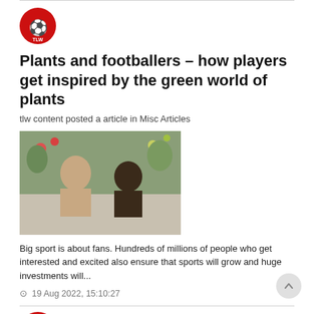[Figure (logo): Liverpool FC / TLW red circular logo with liver bird icon]
Plants and footballers – how players get inspired by the green world of plants
tlw content posted a article in Misc Articles
[Figure (photo): Two shirtless men sitting outdoors in front of green foliage, one with tattoos facing the camera, one with back to camera]
Big sport is about fans. Hundreds of millions of people who get interested and excited also ensure that sports will grow and huge investments will...
⊙ 19 Aug 2022, 15:10:27
[Figure (logo): Liverpool FC / TLW red circular logo with liver bird icon]
What to look for in a football manager?